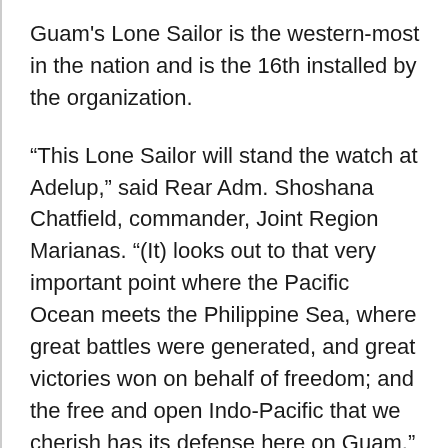Guam's Lone Sailor is the western-most in the nation and is the 16th installed by the organization.
“This Lone Sailor will stand the watch at Adelup,” said Rear Adm. Shoshana Chatfield, commander, Joint Region Marianas. “(It) looks out to that very important point where the Pacific Ocean meets the Philippine Sea, where great battles were generated, and great victories won on behalf of freedom; and the free and open Indo-Pacific that we cherish has its defense here on Guam.”
As one of many memorials at the governor's complex, the Lone Sailor stands alongside the Guam Seal and is surrounded by 19 benches that represent each village in Guam.
Guam Lt. Gov. Ray Tenorio expressed his appreciation to the Navy Memorial and the Navy for